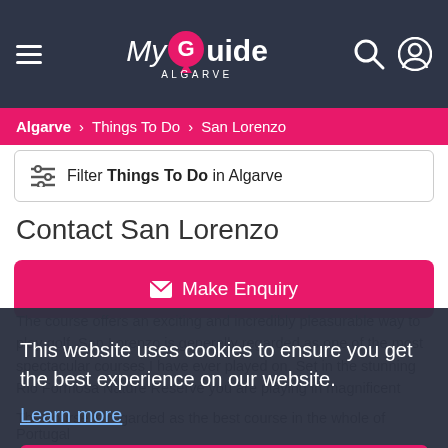My Guide ALGARVE
Algarve > Things To Do > San Lorenzo
Filter Things To Do in Algarve
Contact San Lorenzo
Make Enquiry
This website uses cookies to ensure you get the best experience on our website.
Learn more
Got it!
The course is regarded as the best course in the whole of Portugal